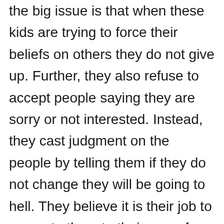the big issue is that when these kids are trying to force their beliefs on others they do not give up. Further, they also refuse to accept people saying they are sorry or not interested. Instead, they cast judgment on the people by telling them if they do not change they will be going to hell. They believe it is their job to convert others to their way of thinking.
The difference with an opinionated blog is that people have choices. People can choose to read or not read what I say. If they do not agree, they can shut the page down or they can respond by commenting